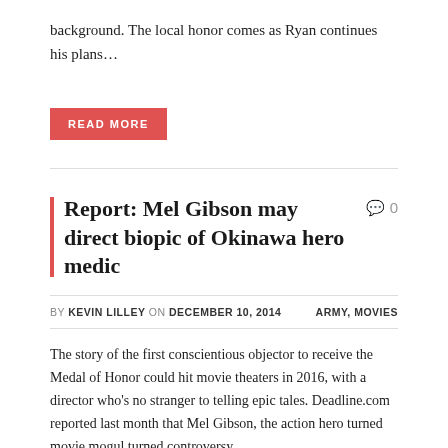background. The local honor comes as Ryan continues his plans…
READ MORE
Report: Mel Gibson may direct biopic of Okinawa hero medic
BY KEVIN LILLEY ON DECEMBER 10, 2014    ARMY, MOVIES
The story of the first conscientious objector to receive the Medal of Honor could hit movie theaters in 2016, with a director who's no stranger to telling epic tales. Deadline.com reported last month that Mel Gibson, the action hero turned movie mogul turned controversy…